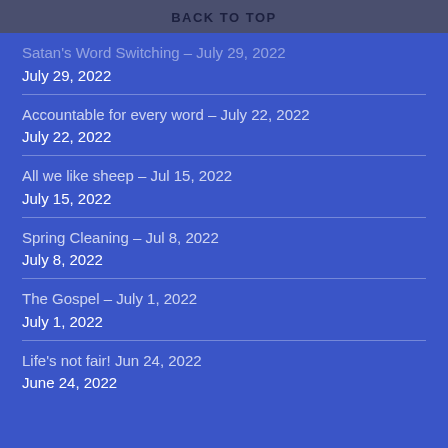BACK TO TOP
Satan's Word Switching – July 29, 2022
July 29, 2022
Accountable for every word – July 22, 2022
July 22, 2022
All we like sheep – Jul 15, 2022
July 15, 2022
Spring Cleaning – Jul 8, 2022
July 8, 2022
The Gospel – July 1, 2022
July 1, 2022
Life's not fair! Jun 24, 2022
June 24, 2022